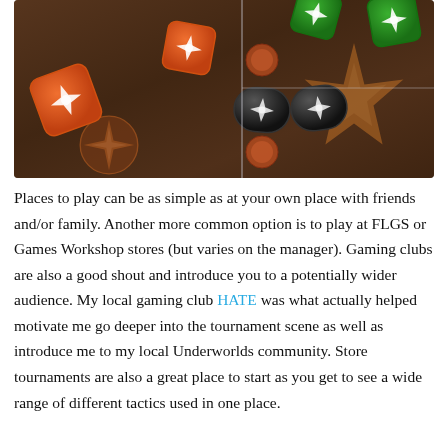[Figure (photo): Overhead photo of colorful gaming dice — orange, green, and black dice with star/explosion symbols — arranged on a dark wooden game board with decorative artwork. Some orange token circles are also visible.]
Places to play can be as simple as at your own place with friends and/or family. Another more common option is to play at FLGS or Games Workshop stores (but varies on the manager). Gaming clubs are also a good shout and introduce you to a potentially wider audience. My local gaming club HATE was what actually helped motivate me go deeper into the tournament scene as well as introduce me to my local Underworlds community. Store tournaments are also a great place to start as you get to see a wide range of different tactics used in one place.